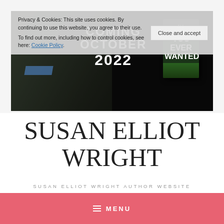Privacy & Cookies: This site uses cookies. By continuing to use this website, you agree to their use.
To find out more, including how to control cookies, see here: Cookie Policy.
[Figure (screenshot): Hero banner image with dark background showing outdoor/brick scene on left and a book cover on right reading 'ALL YOU EVER WANTED', with overlay text 'COMING OCTOBER 2022' in large white bold uppercase letters. A 'Close and accept' button is overlaid on the right side.]
SUSAN ELLIOT WRIGHT
SUSAN ELLIOT WRIGHT AUTHOR WEBSITE
≡ MENU